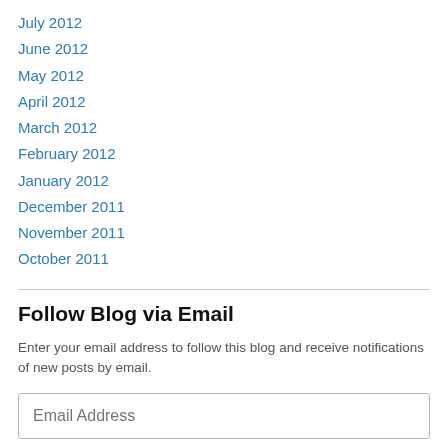July 2012
June 2012
May 2012
April 2012
March 2012
February 2012
January 2012
December 2011
November 2011
October 2011
Follow Blog via Email
Enter your email address to follow this blog and receive notifications of new posts by email.
Email Address
Follow